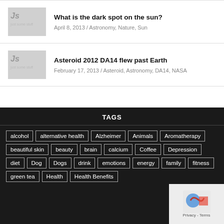What is the dark spot on the sun?
April 8, 2013 / Astronomy, Nature, Sun
Asteroid 2012 DA14 flew past Earth
February 17, 2013 / Asteroid, Astronomy, DA14, NASA
TAGS
alcohol
alternative health
Alzheimer
Animals
Aromatherapy
beautiful skin
beauty
brain
calcium
Coffee
Depression
diet
Dog
Dogs
drink
emotions
energy
family
fitness
green tea
Health
Health Benefits